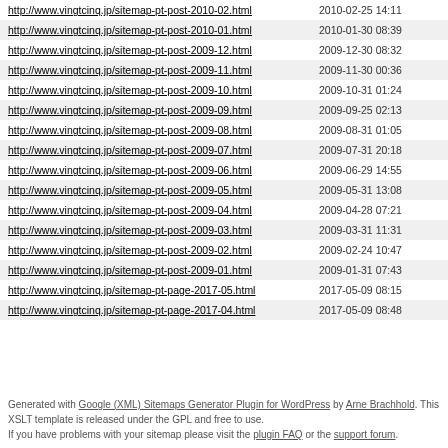| URL | Last Modified |
| --- | --- |
| http://www.vingtcinq.jp/sitemap-pt-post-2010-02.html | 2010-02-25 14:11 |
| http://www.vingtcinq.jp/sitemap-pt-post-2010-01.html | 2010-01-30 08:39 |
| http://www.vingtcinq.jp/sitemap-pt-post-2009-12.html | 2009-12-30 08:32 |
| http://www.vingtcinq.jp/sitemap-pt-post-2009-11.html | 2009-11-30 00:36 |
| http://www.vingtcinq.jp/sitemap-pt-post-2009-10.html | 2009-10-31 01:24 |
| http://www.vingtcinq.jp/sitemap-pt-post-2009-09.html | 2009-09-25 02:13 |
| http://www.vingtcinq.jp/sitemap-pt-post-2009-08.html | 2009-08-31 01:05 |
| http://www.vingtcinq.jp/sitemap-pt-post-2009-07.html | 2009-07-31 20:18 |
| http://www.vingtcinq.jp/sitemap-pt-post-2009-06.html | 2009-06-29 14:55 |
| http://www.vingtcinq.jp/sitemap-pt-post-2009-05.html | 2009-05-31 13:08 |
| http://www.vingtcinq.jp/sitemap-pt-post-2009-04.html | 2009-04-28 07:21 |
| http://www.vingtcinq.jp/sitemap-pt-post-2009-03.html | 2009-03-31 11:31 |
| http://www.vingtcinq.jp/sitemap-pt-post-2009-02.html | 2009-02-24 10:47 |
| http://www.vingtcinq.jp/sitemap-pt-post-2009-01.html | 2009-01-31 07:43 |
| http://www.vingtcinq.jp/sitemap-pt-page-2017-05.html | 2017-05-09 08:15 |
| http://www.vingtcinq.jp/sitemap-pt-page-2017-04.html | 2017-05-09 08:48 |
Generated with Google (XML) Sitemaps Generator Plugin for WordPress by Arne Brachhold. This XSLT template is released under the GPL and free to use. If you have problems with your sitemap please visit the plugin FAQ or the support forum.